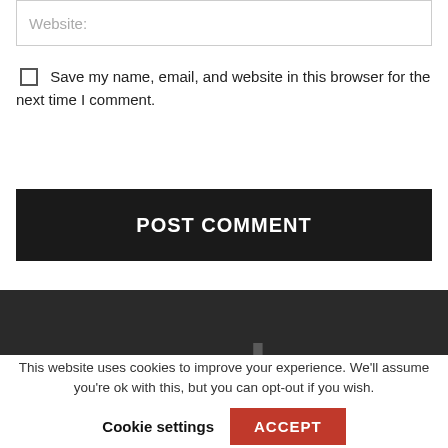Website:
Save my name, email, and website in this browser for the next time I comment.
POST COMMENT
[Figure (logo): searchgo logo — 'search' in dark gray and 'go' in red, large text on dark background]
This website uses cookies to improve your experience. We'll assume you're ok with this, but you can opt-out if you wish.
Cookie settings
ACCEPT